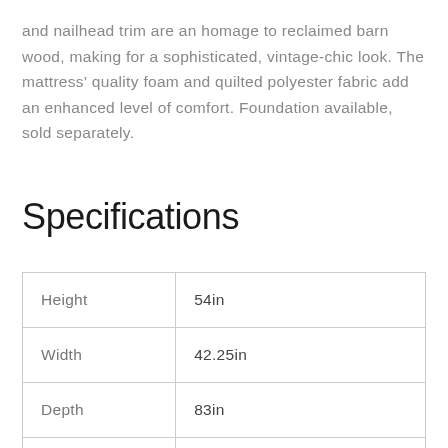and nailhead trim are an homage to reclaimed barn wood, making for a sophisticated, vintage-chic look. The mattress' quality foam and quilted polyester fabric add an enhanced level of comfort. Foundation available, sold separately.
Specifications
| Height | 54in |
| Width | 42.25in |
| Depth | 83in |
|  |  |